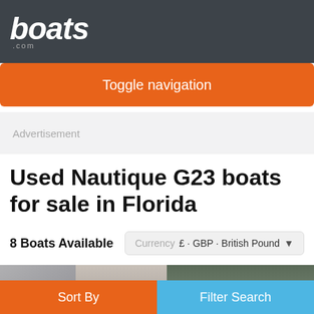boats.com
Toggle navigation
Advertisement
Used Nautique G23 boats for sale in Florida
8 Boats Available   Currency £ - GBP - British Pound
[Figure (photo): Boat listing thumbnail showing interior seats and hardware]
Sort By   Filter Search